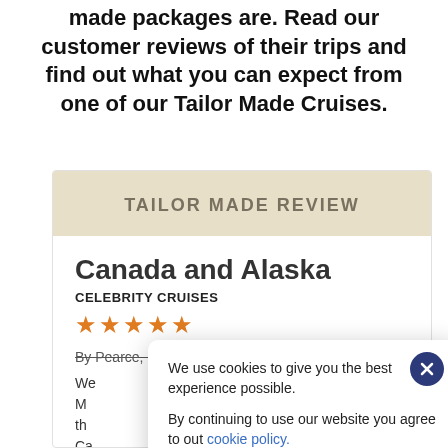made packages are. Read our customer reviews of their trips and find out what you can expect from one of our Tailor Made Cruises.
TAILOR MADE REVIEW
Canada and Alaska
CELEBRITY CRUISES
★★★★★
By Pearce, Plymouth on 13th Jul 2019
We... M... th... Ca... before you...
We use cookies to give you the best experience possible.

By continuing to use our website you agree to out cookie policy.